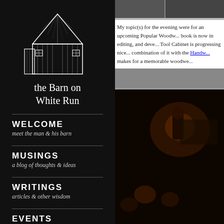[Figure (logo): White line-art illustration of a barn building on black background]
the Barn on White Run
WELCOME
meet the man & his barn
MUSINGS
a blog of thoughts & ideas
WRITINGS
articles & other wisdom
EVENTS
upcoming classes & events
SHOP
DVDs, tools & finishing supplies
[Figure (photo): Dark photo of a presenter speaking to an audience in a dimly lit room]
My topic(s) for the evening were... for an upcoming Popular Woodw... book is now in editing, and deve... Tool Cabinet is progressing nice... combination of it with the Handw... makes for a memorable woodwe...